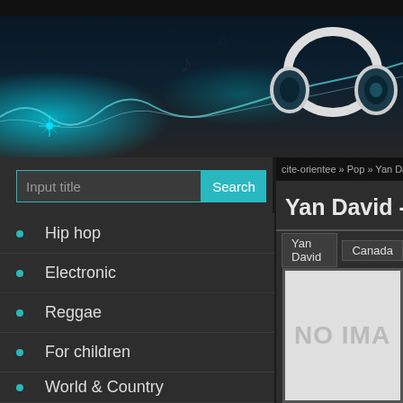[Figure (screenshot): Music website header banner with dark teal background, glowing light effects, waveform, and white headphones graphic on the right]
Input title
Search
Hip hop
Electronic
Reggae
For children
World & Country
Classical
Jazz
Soul & Funk
Blues
cite-orientee » Pop » Yan David - Je Te Re
Yan David - Je
Yan David   Canada
[Figure (photo): NO IMAGE placeholder — light gray rectangle]